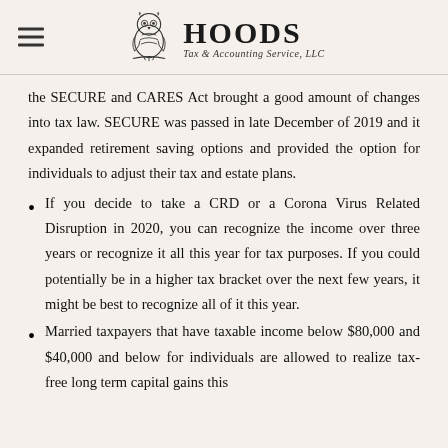HOODS Tax & Accounting Service, LLC
the SECURE and CARES Act brought a good amount of changes into tax law. SECURE was passed in late December of 2019 and it expanded retirement saving options and provided the option for individuals to adjust their tax and estate plans.
If you decide to take a CRD or a Corona Virus Related Disruption in 2020, you can recognize the income over three years or recognize it all this year for tax purposes. If you could potentially be in a higher tax bracket over the next few years, it might be best to recognize all of it this year.
Married taxpayers that have taxable income below $80,000 and $40,000 and below for individuals are allowed to realize tax-free long term capital gains this